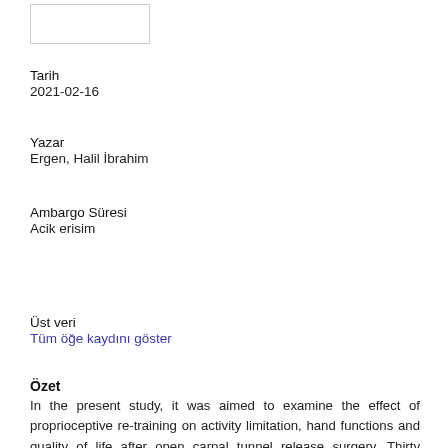[Figure (other): Small rectangular image/logo placeholder box in top left]
Tarih
2021-02-16
Yazar
Ergen, Halil İbrahim
Ambargo Süresi
Acik erisim
Üst veri
Tüm öğe kaydını göster
Özet
In the present study, it was aimed to examine the effect of proprioceptive re-training on activity limitation, hand functions and quality of life after open carpal tunnel release surgery. Thirty individuals between 18-65